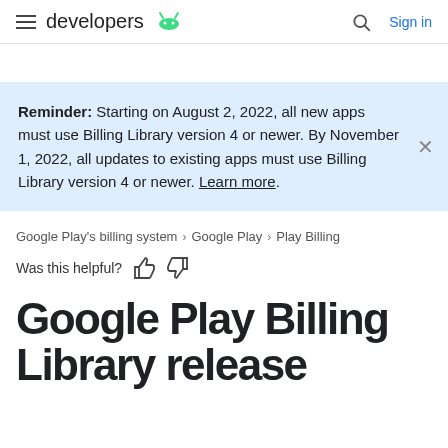developers [Android logo] | Search | Sign in
Reminder: Starting on August 2, 2022, all new apps must use Billing Library version 4 or newer. By November 1, 2022, all updates to existing apps must use Billing Library version 4 or newer. Learn more.
Google Play's billing system > Google Play > Play Billing
Was this helpful?
Google Play Billing Library release